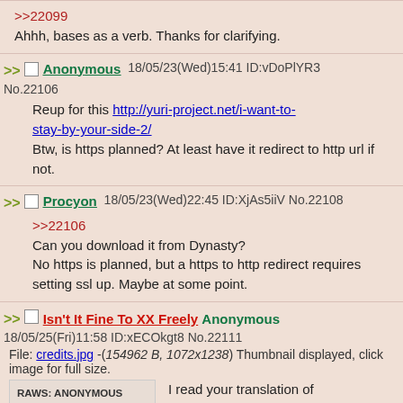>>22099
Ahhh, bases as a verb. Thanks for clarifying.
Anonymous 18/05/23(Wed)15:41 ID:vDoPlYR3 No.22106
Reup for this http://yuri-project.net/i-want-to-stay-by-your-side-2/
Btw, is https planned? At least have it redirect to http url if not.
Procyon 18/05/23(Wed)22:45 ID:XjAs5iiV No.22108
>>22106
Can you download it from Dynasty?
No https is planned, but a https to http redirect requires setting ssl up. Maybe at some point.
Isn't It Fine To XX Freely Anonymous 18/05/25(Fri)11:58 ID:xECOkgt8 No.22111
File: credits.jpg -(154962 B, 1072x1238) Thumbnail displayed, click image for full size.
RAWS: ANONYMOUS
TRANSLATION: HANK THE BARTENDER
EDITION: CESSA
PR/QC: PROCYON
yuri-project.net
I read your translation of Yuru Yuri doujin. There's kissing scene